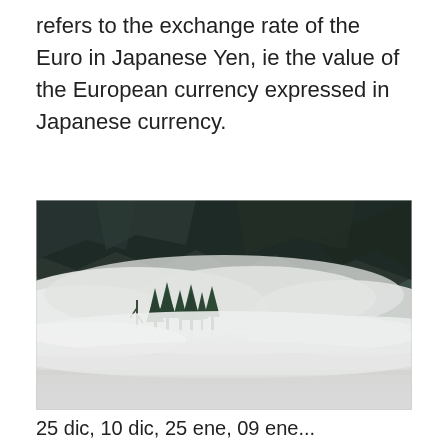refers to the exchange rate of the Euro in Japanese Yen, ie the value of the European currency expressed in Japanese currency.
[Figure (photo): A misty mountain landscape photograph showing dark rocky mountain peaks in the upper portion, a thick band of white clouds/fog in the middle, and dark green evergreen trees barely visible through the mist at the lower-middle section. A calm body of water is at the bottom, partially obscured by fog.]
25 dic, 10 dic, 25 ene, 09 ene...